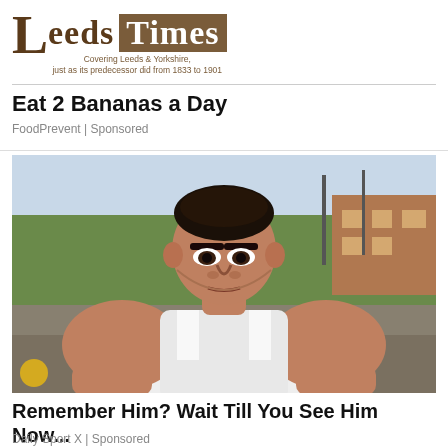Leeds Times — Covering Leeds & Yorkshire, just as its predecessor did from 1833 to 1901
Eat 2 Bananas a Day
FoodPrevent | Sponsored
[Figure (photo): Large muscular man with slicked-back dark hair wearing a white tank top, looking intensely at the camera, outdoors with greenery and a building in the background.]
Remember Him? Wait Till You See Him Now...
Daily Sport X | Sponsored